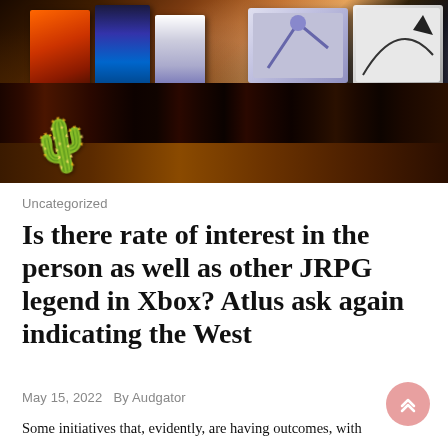[Figure (photo): Photo of video game cases and boxes on a shelf, including colorful game covers. A green cactus emoji/sticker overlays the lower-left of the image.]
Uncategorized
Is there rate of interest in the person as well as other JRPG legend in Xbox? Atlus ask again indicating the West
May 15, 2022   By Audgator
Some initiatives that, evidently, are having outcomes, with